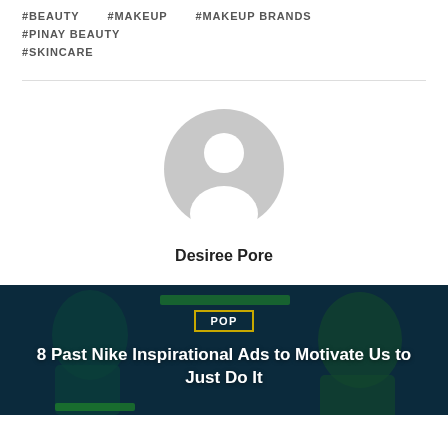#BEAUTY
#MAKEUP
#MAKEUP BRANDS
#PINAY BEAUTY
#SKINCARE
[Figure (illustration): Default user avatar placeholder — grey circle with white silhouette of a person]
Desiree Pore
[Figure (photo): Article card image with dark blue-green overlay showing people in background, POP badge, and article title '8 Past Nike Inspirational Ads to Motivate Us to Just Do It']
8 Past Nike Inspirational Ads to Motivate Us to Just Do It